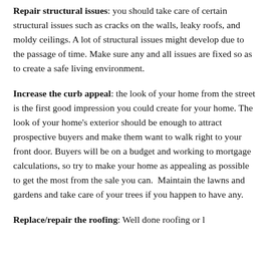Repair structural issues: you should take care of certain structural issues such as cracks on the walls, leaky roofs, and moldy ceilings. A lot of structural issues might develop due to the passage of time. Make sure any and all issues are fixed so as to create a safe living environment.
Increase the curb appeal: the look of your home from the street is the first good impression you could create for your home. The look of your home's exterior should be enough to attract prospective buyers and make them want to walk right to your front door. Buyers will be on a budget and working to mortgage calculations, so try to make your home as appealing as possible to get the most from the sale you can.  Maintain the lawns and gardens and take care of your trees if you happen to have any.
Replace/repair the roofing: Well done roofing or loft...